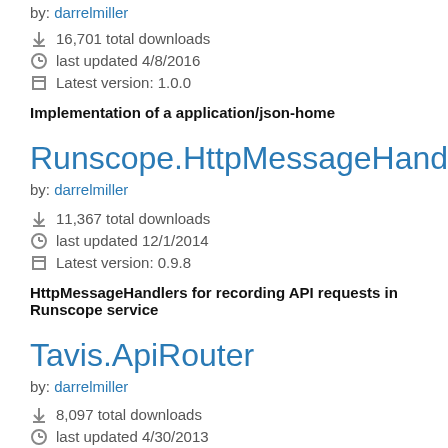by: darrelmiller
16,701 total downloads
last updated 4/8/2016
Latest version: 1.0.0
Implementation of a application/json-home
Runscope.HttpMessageHandler
by: darrelmiller
11,367 total downloads
last updated 12/1/2014
Latest version: 0.9.8
HttpMessageHandlers for recording API requests in Runscope service
Tavis.ApiRouter
by: darrelmiller
8,097 total downloads
last updated 4/30/2013